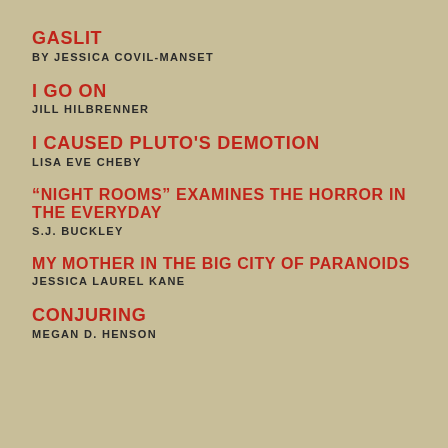GASLIT / BY JESSICA COVIL-MANSET
I GO ON / JILL HILBRENNER
I CAUSED PLUTO'S DEMOTION / LISA EVE CHEBY
“NIGHT ROOMS” EXAMINES THE HORROR IN THE EVERYDAY / S.J. BUCKLEY
MY MOTHER IN THE BIG CITY OF PARANOIDS / JESSICA LAUREL KANE
CONJURING / MEGAN D. HENSON